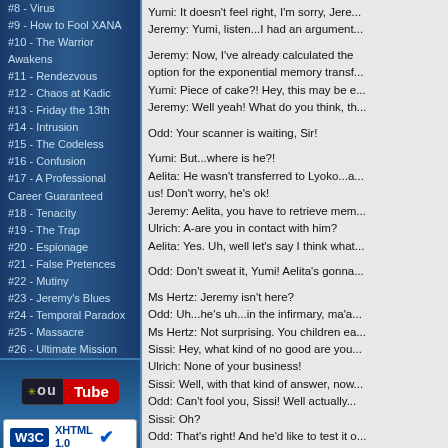#8 - Virus
#9 - How to Fool XANA
#10 - The Warrior Awakens
#11 - Rendezvous
#12 - Chaos at Kadic
#13 - Friday the 13th
#14 - Intrusion
#15 - The Codeless
#16 - Confusion
#17 - A Professional Career Guaranteed
#18 - Tenacity
#19 - The Trap
#20 - Espionage
#21 - False Pretences
#22 - Mutiny
#23 - Jeremy's Blues
#24 - Temporal Paradox
#25 - Massacre
#26 - Ultimate Mission
[Figure (logo): YouTube-style logo with star and 'ou Tube' text]
[Figure (logo): W3C XHTML 1.0 validation badge with IPV6 READY badge]
Yumi: It doesn't feel right, I'm sorry, Jere...
Jeremy: Yumi, listen...I had an argument...
Jeremy: Now, I've already calculated the option for the exponential memory transf...
Yumi: Piece of cake?! Hey, this may be e...
Jeremy: Well yeah! What do you think, th...
Odd: Your scanner is waiting, Sir!
Yumi: But...where is he?!
Aelita: He wasn't transferred to Lyoko...a... us! Don't worry, he's ok!
Jeremy: Aelita, you have to retrieve mem...
Ulrich: A-are you in contact with him?
Aelita: Yes. Uh, well let's say I think what...
Odd: Don't sweat it, Yumi! Aelita's gonna...
Ms Hertz: Jeremy isn't here?
Odd: Uh...he's uh...in the infirmary, ma'a...
Ms Hertz: Not surprising. You children ea...
Sissi: Hey, what kind of no good are you...
Ulrich: None of your business!
Sissi: Well, with that kind of answer, now...
Odd: Can't fool you, Sissi! Well actually...
Sissi: Oh?
Odd: That's right! And he'd like to test it o...
(Odd and Ulrich laugh)
Ulrich: Aelita, I get the feeling you're not...
Aelita: You're right, Ulrich...I'm not...
Ulrich: Well done, Jeremy would be prou...
Aelita: Ulrich! Odd! I've got a problem! It'...
Ulrich: Huh?! What do you mean, Aelita?
Aelita: I don't know anymore. The...